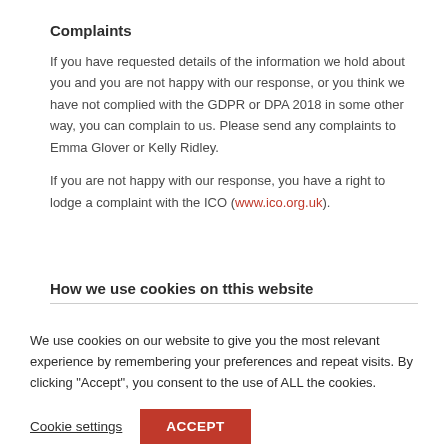Complaints
If you have requested details of the information we hold about you and you are not happy with our response, or you think we have not complied with the GDPR or DPA 2018 in some other way, you can complain to us. Please send any complaints to Emma Glover or Kelly Ridley.
If you are not happy with our response, you have a right to lodge a complaint with the ICO (www.ico.org.uk).
How we use cookies on tthis website
We use cookies on our website to give you the most relevant experience by remembering your preferences and repeat visits. By clicking "Accept", you consent to the use of ALL the cookies.
Cookie settings   ACCEPT